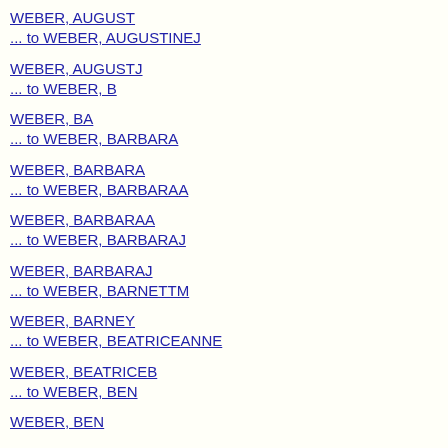WEBER, AUGUST
... to WEBER, AUGUSTINEJ
WEBER, AUGUSTJ
... to WEBER, B
WEBER, BA
... to WEBER, BARBARA
WEBER, BARBARA
... to WEBER, BARBARAA
WEBER, BARBARAA
... to WEBER, BARBARAJ
WEBER, BARBARAJ
... to WEBER, BARNETTM
WEBER, BARNEY
... to WEBER, BEATRICEANNE
WEBER, BEATRICEB
... to WEBER, BEN
WEBER, BEN